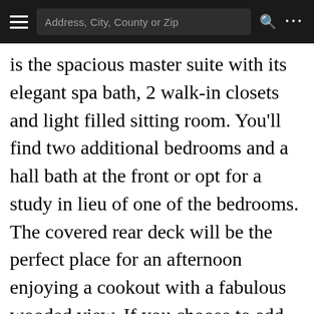Address, City, County or Zip
is the spacious master suite with its elegant spa bath, 2 walk-in closets and light filled sitting room. You'll find two additional bedrooms and a hall bath at the front or opt for a study in lieu of one of the bedrooms. The covered rear deck will be the perfect place for an afternoon enjoying a cookout with a fabulous wooded view. If you choose to add the second floor with bedroom, bath and loft, there'll be even more space to spread out and finishing the basement allows you to create a game room, rec room and fifth